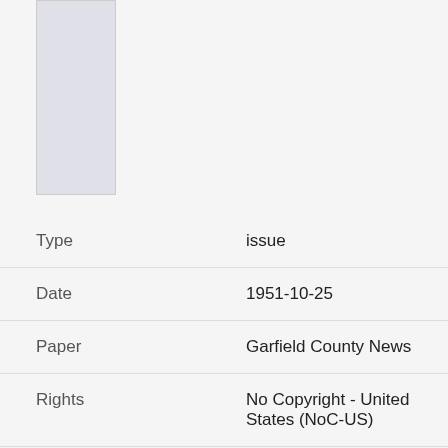[Figure (photo): Thumbnail image placeholder, light gray/lavender rectangle]
| Type | issue |
| Date | 1951-10-25 |
| Paper | Garfield County News |
| Rights | No Copyright - United States (NoC-US) |
| Rights Holder | Tropic Town, Tropic, Utah |
| Publisher | Digitized by J. Willard Marriott Library, University of Utah |